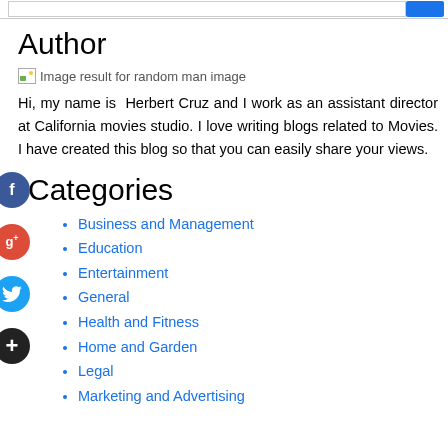Author
[Figure (photo): Broken image placeholder with text: Image result for random man image]
Hi, my name is Herbert Cruz and I work as an assistant director at California movies studio. I love writing blogs related to Movies. I have created this blog so that you can easily share your views.
Categories
Business and Management
Education
Entertainment
General
Health and Fitness
Home and Garden
Legal
Marketing and Advertising